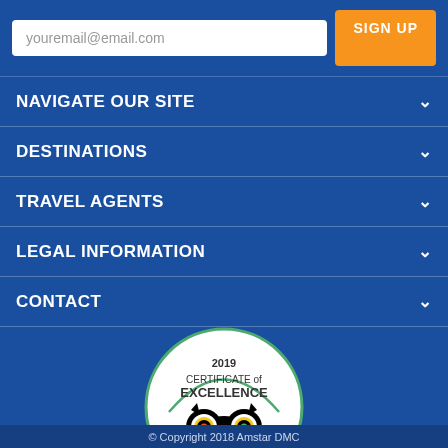youremail@email.com
SIGN UP
NAVIGATE OUR SITE
DESTINATIONS
TRAVEL AGENTS
LEGAL INFORMATION
CONTACT
[Figure (logo): TripAdvisor 2019 Certificate of Excellence badge — circular white badge with green border, owl logo, and tripadvisor text]
© Copyright 2018 Amstar DMC